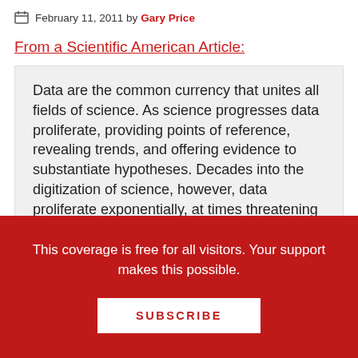February 11, 2011 by Gary Price
From a Scientific American Article:
Data are the common currency that unites all fields of science. As science progresses data proliferate, providing points of reference, revealing trends, and offering evidence to substantiate hypotheses. Decades into the digitization of science, however, data proliferate exponentially, at times threatening to drown knowledge and information in a sea of noise.
[Clip]
This coverage is free for all visitors. Your support makes this possible.
SUBSCRIBE